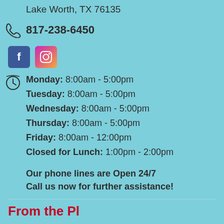Lake Worth, TX 76135
817-238-6450
[Figure (logo): Facebook and Instagram social media icons]
Monday: 8:00am - 5:00pm
Tuesday: 8:00am - 5:00pm
Wednesday: 8:00am - 5:00pm
Thursday: 8:00am - 5:00pm
Friday: 8:00am - 12:00pm
Closed for Lunch: 1:00pm - 2:00pm
Our phone lines are Open 24/7
Call us now for further assistance!
From the Pl…